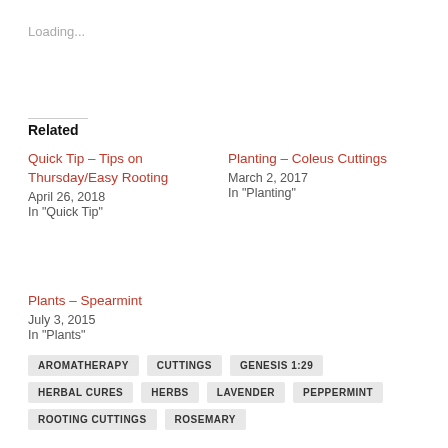Loading...
Related
Quick Tip – Tips on Thursday/Easy Rooting
April 26, 2018
In "Quick Tip"
Planting – Coleus Cuttings
March 2, 2017
In "Planting"
Plants – Spearmint
July 3, 2015
In "Plants"
AROMATHERAPY
CUTTINGS
GENESIS 1:29
HERBAL CURES
HERBS
LAVENDER
PEPPERMINT
ROOTING CUTTINGS
ROSEMARY